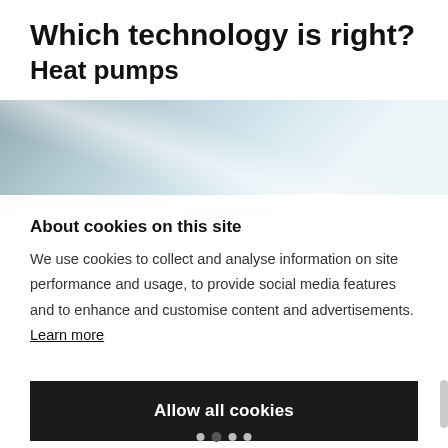Which technology is right?
Heat pumps
[Figure (photo): Photo of what appears to be a heat pump or HVAC unit against a light blue background, partially visible]
About cookies on this site
We use cookies to collect and analyse information on site performance and usage, to provide social media features and to enhance and customise content and advertisements. Learn more
Allow all cookies
COOKIE SETTINGS